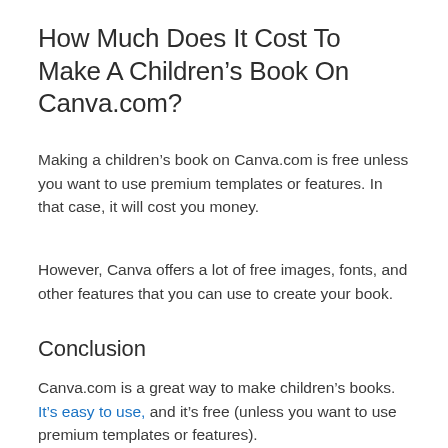How Much Does It Cost To Make A Children’s Book On Canva.com?
Making a children’s book on Canva.com is free unless you want to use premium templates or features. In that case, it will cost you money.
However, Canva offers a lot of free images, fonts, and other features that you can use to create your book.
Conclusion
Canva.com is a great way to make children’s books. It’s easy to use, and it’s free (unless you want to use premium templates or features).